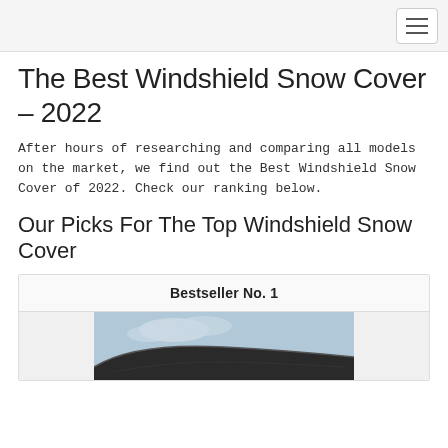The Best Windshield Snow Cover – 2022
After hours of researching and comparing all models on the market, we find out the Best Windshield Snow Cover of 2022. Check our ranking below.
Our Picks For The Top Windshield Snow Cover
| Bestseller No. 1 |
| --- |
| [product image] |
[Figure (photo): Product photo of a windshield snow cover, dark colored cover on a car windshield with sky in background]